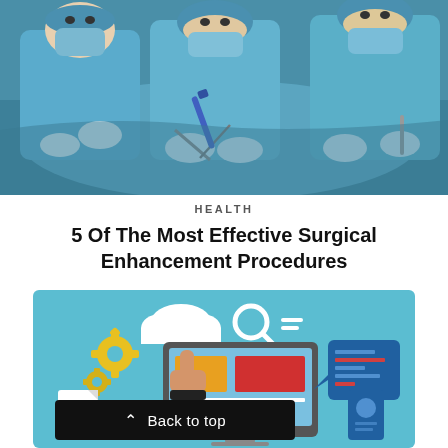[Figure (photo): Surgeons in blue scrubs and gloves performing surgery, viewed from above on operating table]
HEALTH
5 Of The Most Effective Surgical Enhancement Procedures
[Figure (illustration): Digital technology illustration showing a computer monitor with colorful UI elements, cloud, search icon, gears, and a hand pointing at the screen, on a teal background]
Back to top